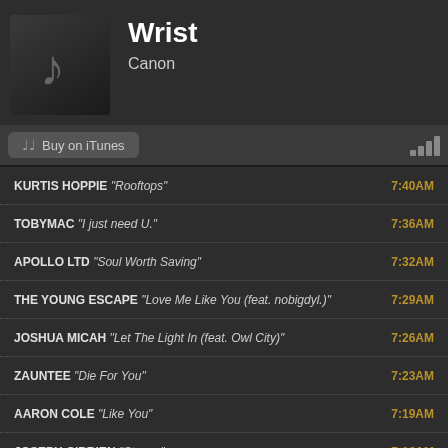Wrist
Canon
KURTIS HOPPIE "Rooftops" 7:40AM
TOBYMAC "I just need U." 7:36AM
APOLLO LTD "Soul Worth Saving" 7:32AM
THE YOUNG ESCAPE "Love Me Like You (feat. nobigdyl.)" 7:29AM
JOSHUA MICAH "Let The Light In (feat. Owl City)" 7:26AM
ZAUNTEE "Die For You" 7:23AM
AARON COLE "Like You" 7:19AM
JOSEPH O'BRIEN "Stages" 7:16AM
BRANAN MURPHY "Better King" 7:13AM
TY BRASEL "Paid For It (Remix) (Ft Lecrae)" 7:10AM
More songs we've played »
[Figure (bar-chart): Partial bar chart visible at bottom of page with cyan bars]